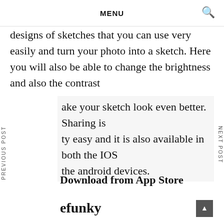MENU
designs of sketches that you can use very easily and turn your photo into a sketch. Here you will also be able to change the brightness and also the contrast ake your sketch look even better. Sharing is ty easy and it is also available in both the IOS the android devices.
Download from App Store
efunky
The most amazing thing about this app is it will allow you to rotate, crop, straight and allow many other effects to apply on your photos other than making cartoon figure of your photos. You can also add